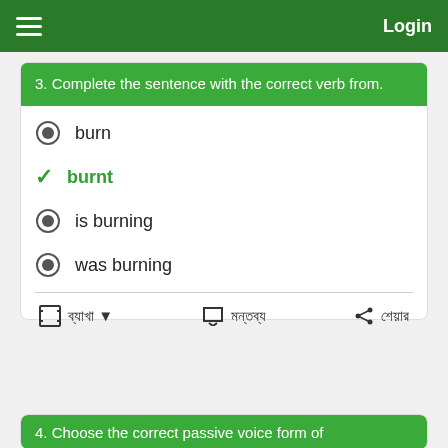Login
3. Complete the sentence with the correct verb from.
burn
burnt (correct answer)
is burning
was burning
ব্যাখা ▼   মন্তব্য   শেয়ার
4. Choose the correct passive voice form of